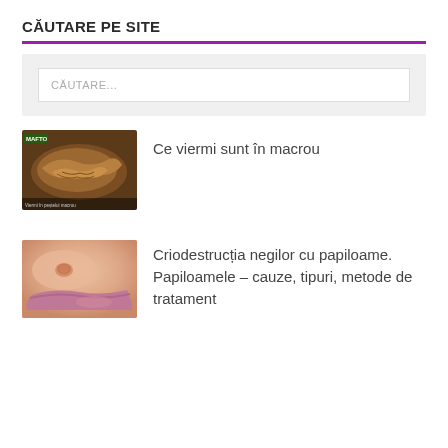CĂUTARE PE SITE
[Figure (screenshot): Search input box with placeholder text CĂUTARE... on grey background]
[Figure (photo): Macro photograph of fish innards with worms visible, with green banner overlay]
Ce viermi sunt în macrou
[Figure (photo): Close-up photo of skin with papilloma/mole near lips]
Criodestrucția negilor cu papiloame. Papiloamele – cauze, tipuri, metode de tratament